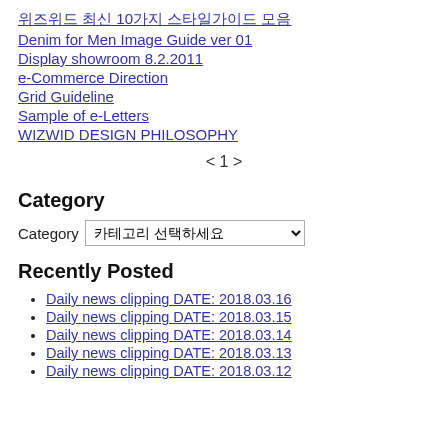위즈위드 최신 10가지 스타일가이드 모음
Denim for Men Image Guide ver 01
Display showroom 8.2.2011
e-Commerce Direction
Grid Guideline
Sample of e-Letters
WIZWID DESIGN PHILOSOPHY
< 1 >
Category
Category 카테고리 선택하세요
Recently Posted
Daily news clipping DATE: 2018.03.16
Daily news clipping DATE: 2018.03.15
Daily news clipping DATE: 2018.03.14
Daily news clipping DATE: 2018.03.13
Daily news clipping DATE: 2018.03.12